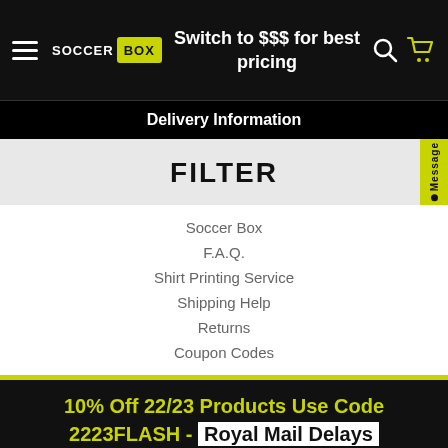Switch to $$$ for best pricing
Delivery Information
FILTER
Soccer Box
F.A.Q.
Shirt Printing Service
Shipping Help
Returns
Coupon Codes
10% Off 22/23 Products Use Code 2223FLASH - Royal Mail Delays